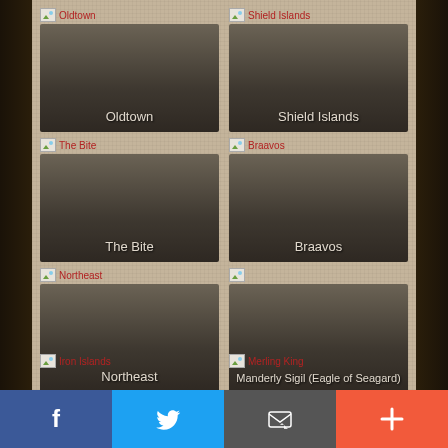[Figure (screenshot): Grid of location/map image cards for a fantasy world. Row 1: Oldtown card and Shield Islands card. Row 2: The Bite card and Braavos card. Row 3: Northeast card and Manderly Sigil (Eagle of Seagard) card. Row 4 (partial): Iron Islands label and Merling King label. Each card shows a dark image placeholder with white location name text at bottom.]
Facebook | Twitter | Email | +